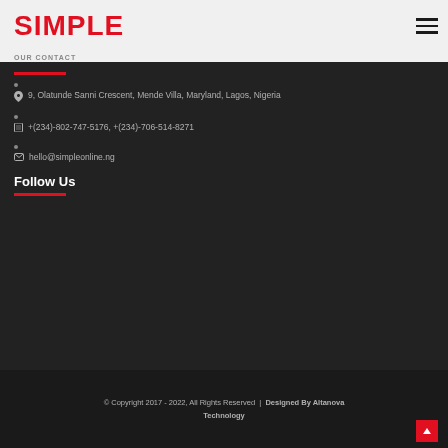SIMPLE
OUR CONTACT
9, Olatunde Sanni Crescent, Mende Villa, Maryland, Lagos, Nigeria
+(234)-802-747-5176, +(234)-706-514-8271
hello@simpleonline.ng
Follow Us
© Copyright 2017 - 2022, All Rights Reserved  |  Designed By Altanova Technology